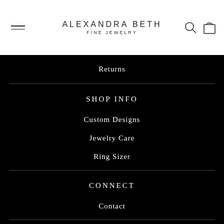ALEXANDRA BETH FINE JEWELRY
Returns
SHOP INFO
Custom Designs
Jewelry Care
Ring Sizer
CONNECT
Contact
Search